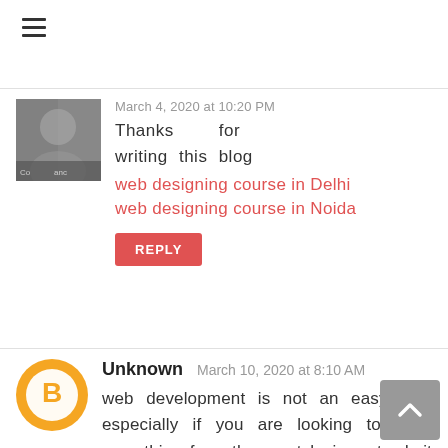≡
March 4, 2020 at 10:20 PM
Thanks for writing this blog
web designing course in Delhi
web designing course in Noida
REPLY
Unknown   March 10, 2020 at 8:10 AM
web development is not an easy task especially if you are looking to build something from the scratch, i must admit that python is getting popular these days and it has many advantages for using it, even while developing our project Mavericks we were thinking